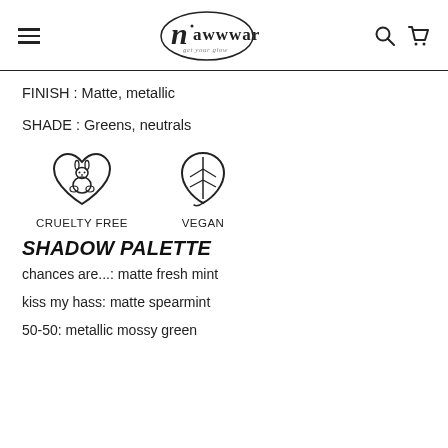nawwwar get your glow
FINISH : Matte, metallic
SHADE : Greens, neutrals
[Figure (illustration): Two icons: a cruelty free icon (bunny in a heart) labeled CRUELTY FREE, and a vegan icon (leaf/plant droplet shape) labeled VEGAN]
SHADOW PALETTE
chances are...: matte fresh mint
kiss my hass: matte spearmint
50-50: metallic mossy green